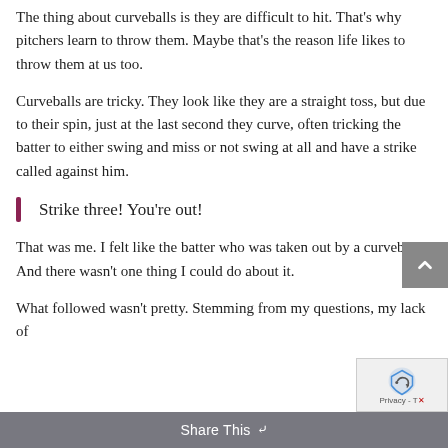The thing about curveballs is they are difficult to hit. That's why pitchers learn to throw them. Maybe that's the reason life likes to throw them at us too.
Curveballs are tricky. They look like they are a straight toss, but due to their spin, just at the last second they curve, often tricking the batter to either swing and miss or not swing at all and have a strike called against him.
Strike three! You're out!
That was me. I felt like the batter who was taken out by a curveball. And there wasn't one thing I could do about it.
What followed wasn't pretty. Stemming from my questions, my lack of